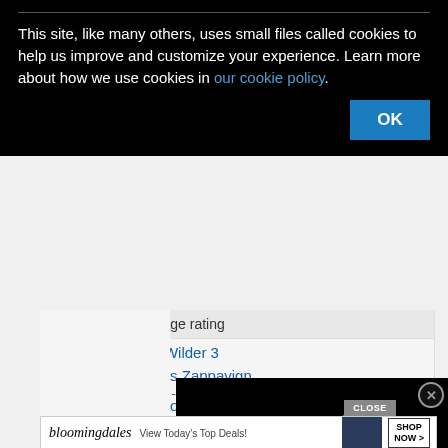This site, like many others, uses small files called cookies to help us improve and customize your experience. Learn more about how we use cookies in our cookie policy.
Top 10 fights average rating
1. Tyson Fury vs Wilder 3
2. Alex Saucedo vs Zappavign…
3. Weili Zhang vs Joanna
4. Manny Pacquiao vs Erik Mo…
5. Carl Froch vs Groves
6. Miesha Tate vs Rousey
7. Joshua vs Andy Ruiz Jr I
8. Jo…
[Figure (screenshot): Black video player overlay with loading spinner circle]
[Figure (screenshot): Bloomingdales advertisement banner: View Today's Top Deals! SHOP NOW >]